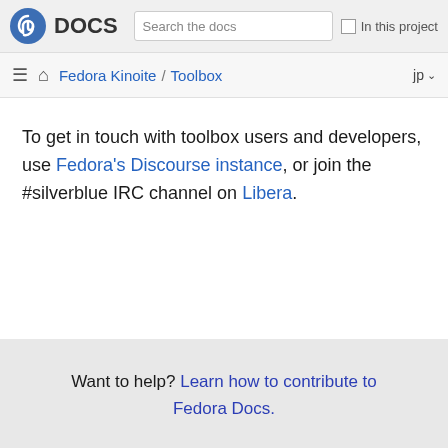Fedora DOCS | Search the docs | In this project
Fedora Kinoite / Toolbox  jp
To get in touch with toolbox users and developers, use Fedora's Discourse instance, or join the #silverblue IRC channel on Libera.
Want to help? Learn how to contribute to Fedora Docs.